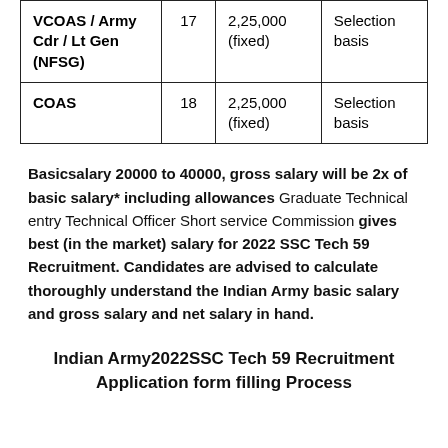| VCOAS / Army Cdr / Lt Gen (NFSG) | 17 | 2,25,000 (fixed) | Selection basis |
| COAS | 18 | 2,25,000 (fixed) | Selection basis |
Basicsalary 20000 to 40000, gross salary will be 2x of basic salary* including allowances Graduate Technical entry Technical Officer Short service Commission gives best (in the market) salary for 2022 SSC Tech 59 Recruitment. Candidates are advised to calculate thoroughly understand the Indian Army basic salary and gross salary and net salary in hand.
Indian Army2022SSC Tech 59 Recruitment Application form filling Process